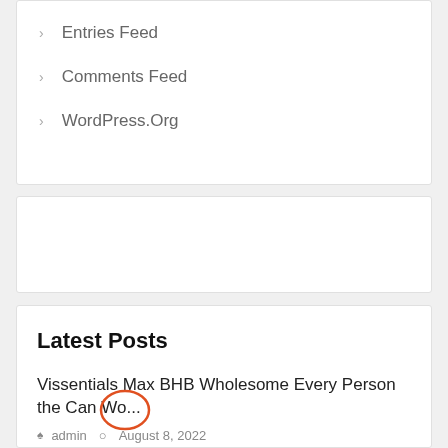Entries Feed
Comments Feed
WordPress.Org
[Figure (other): Empty white advertisement box]
Latest Posts
Vissentials Max BHB Wholesome Every Person the Can Wo...
admin   August 8, 2022